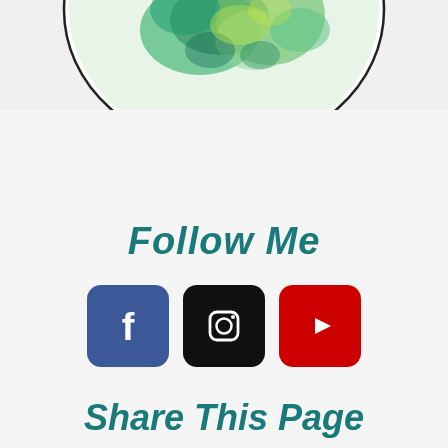[Figure (illustration): Partial view of a globe illustration with green and teal watercolor continents on white background, circular frame, partially cropped at top of page]
Follow Me
[Figure (logo): Three social media icons side by side: Facebook (blue rounded square with white 'f' icon), Instagram (dark/black rounded square with white camera icon), YouTube (red rounded square with white play button)]
Share This Page